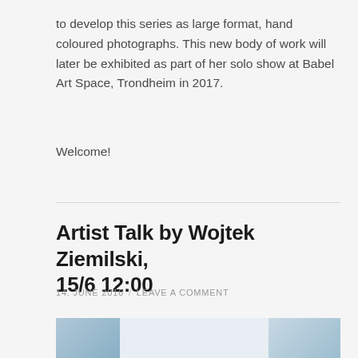to develop this series as large format, hand coloured photographs. This new body of work will later be exhibited as part of her solo show at Babel Art Space, Trondheim in 2017.
Welcome!
Artist Talk by Wojtek Ziemilski, 15/6 12:00
14. JUNE 2016 / LEAVE A COMMENT
[Figure (photo): Partial photograph showing a building exterior, visible at the bottom of the page, with blue architectural details on left and right sides.]